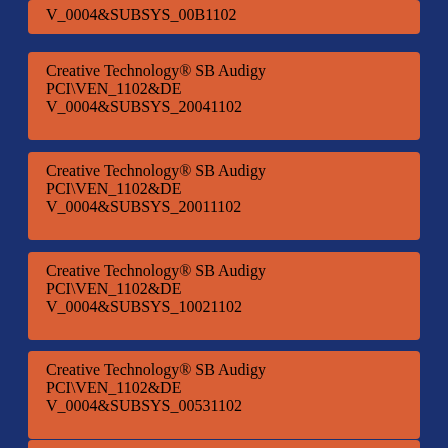Creative Technology® SB Audigy PCI\VEN_1102&DEV_0004&SUBSYS_00B1102
Creative Technology® SB Audigy PCI\VEN_1102&DEV_0004&SUBSYS_20041102
Creative Technology® SB Audigy PCI\VEN_1102&DEV_0004&SUBSYS_20011102
Creative Technology® SB Audigy PCI\VEN_1102&DEV_0004&SUBSYS_10021102
Creative Technology® SB Audigy PCI\VEN_1102&DEV_0004&SUBSYS_00531102
Creative Technology® SB Audigy PCI\VEN_1102&DEV_0004&SUBSYS_10091102